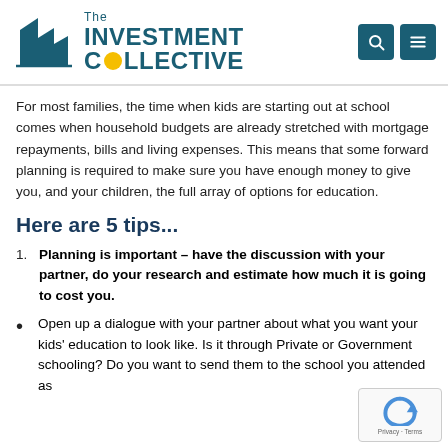The Investment Collective
For most families, the time when kids are starting out at school comes when household budgets are already stretched with mortgage repayments, bills and living expenses. This means that some forward planning is required to make sure you have enough money to give you, and your children, the full array of options for education.
Here are 5 tips...
Planning is important – have the discussion with your partner, do your research and estimate how much it is going to cost you.
Open up a dialogue with your partner about what you want your kids' education to look like. Is it through Private or Government schooling? Do you want to send them to the school you attended as